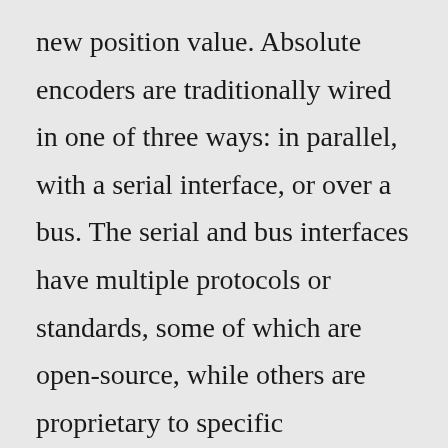new position value. Absolute encoders are traditionally wired in one of three ways: in parallel, with a serial interface, or over a bus. The serial and bus interfaces have multiple protocols or standards, some of which are open-source, while others are proprietary to specific manufacturers. When considering how to wire an absolute encoder, the required resolution ...FEN-31 HTL Encoder Interface User's Manual. ID: